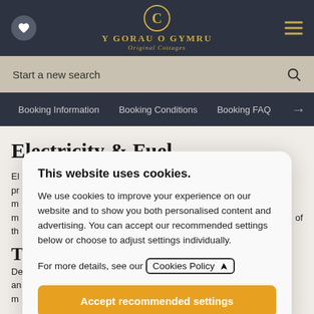[Figure (logo): Y Gorau o Gymru - Original Cottages logo with golden circular C emblem on dark navy header bar]
Start a new search
Booking Information   Booking Conditions   Booking FAQ
Electricity & Fuel
El... pr... m... m... of th...
T
De... an... m...
This website uses cookies.
We use cookies to improve your experience on our website and to show you both personalised content and advertising. You can accept our recommended settings below or choose to adjust settings individually.
For more details, see our Cookies Policy
Accept recommended settings